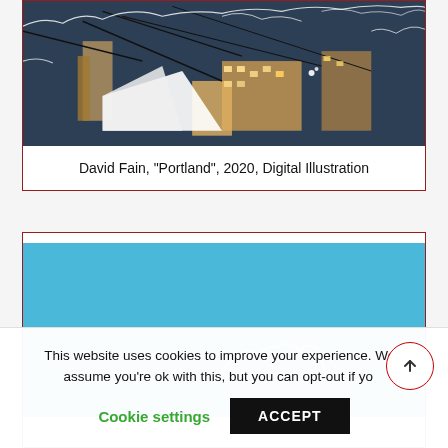[Figure (illustration): Digital illustration by David Fain titled Portland, 2020. Shows an aerial/overhead view of an urban Portland scene at night with warm lighting, overhead power lines, buildings, and white outline artistic overlays on a dark blue background.]
David Fain, "Portland", 2020, Digital Illustration
[Figure (illustration): Partial view of another digital illustration on blue/teal background showing white outline figures or landscape near the bottom.]
This website uses cookies to improve your experience. We'll assume you're ok with this, but you can opt-out if you.
Cookie settings
ACCEPT